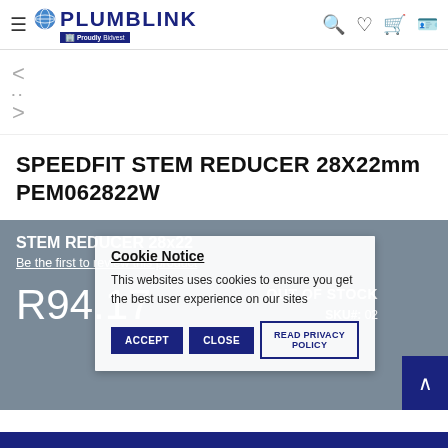PLUMBLINK — Proudly Bidvest
[Figure (screenshot): Navigation arrows (left/right chevrons) for product image carousel]
SPEEDFIT STEM REDUCER 28X22mm PEM062822W
STEM REDUCER 28x22
Be the first to review this product
R94.17
OUT OF STOCK
SKU#:  02...
Cookie Notice
This websites uses cookies to ensure you get the best user experience on our sites
ACCEPT   CLOSE   READ PRIVACY POLICY